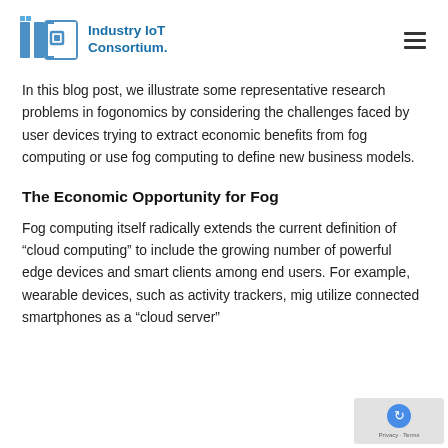Industry IoT Consortium.
In this blog post, we illustrate some representative research problems in fogonomics by considering the challenges faced by user devices trying to extract economic benefits from fog computing or use fog computing to define new business models.
The Economic Opportunity for Fog
Fog computing itself radically extends the current definition of “cloud computing” to include the growing number of powerful edge devices and smart clients among end users. For example, wearable devices, such as activity trackers, might utilize connected smartphones as a “cloud server”